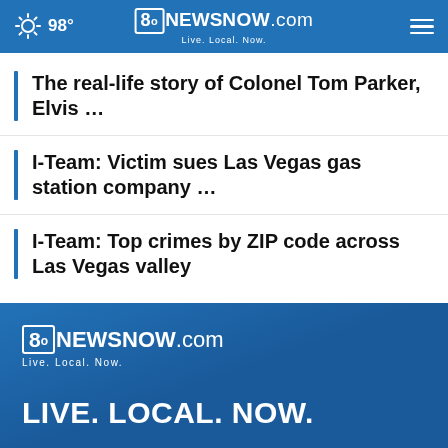98° 8oNEWSNOW.com Live. Local. Now.
The real-life story of Colonel Tom Parker, Elvis …
I-Team: Victim sues Las Vegas gas station company …
I-Team: Top crimes by ZIP code across Las Vegas valley
[Figure (logo): 8oNEWSNOW.com logo with tagline 'Live. Local. Now.' on blue background]
LIVE. LOCAL. NOW.